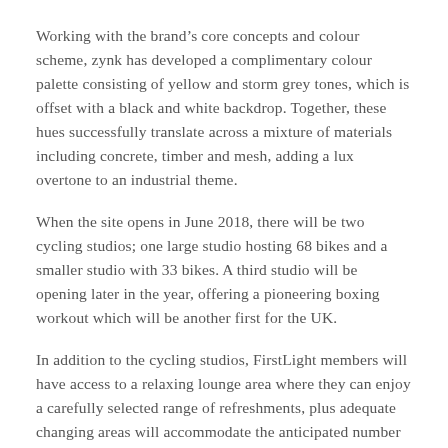Working with the brand’s core concepts and colour scheme, zynk has developed a complimentary colour palette consisting of yellow and storm grey tones, which is offset with a black and white backdrop. Together, these hues successfully translate across a mixture of materials including concrete, timber and mesh, adding a lux overtone to an industrial theme.
When the site opens in June 2018, there will be two cycling studios; one large studio hosting 68 bikes and a smaller studio with 33 bikes. A third studio will be opening later in the year, offering a pioneering boxing workout which will be another first for the UK.
In addition to the cycling studios, FirstLight members will have access to a relaxing lounge area where they can enjoy a carefully selected range of refreshments, plus adequate changing areas will accommodate the anticipated number of riders.
The FirstLight studio is located on the first floor but accessed